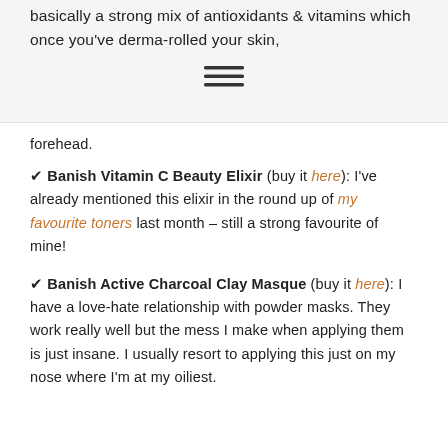basically a strong mix of antioxidants & vitamins which once you've derma-rolled your skin,
[Figure (other): Hamburger menu icon — three horizontal lines]
forehead.
✔ Banish Vitamin C Beauty Elixir (buy it here): I've already mentioned this elixir in the round up of my favourite toners last month – still a strong favourite of mine!
✔ Banish Active Charcoal Clay Masque (buy it here): I have a love-hate relationship with powder masks. They work really well but the mess I make when applying them is just insane. I usually resort to applying this just on my nose where I'm at my oiliest.